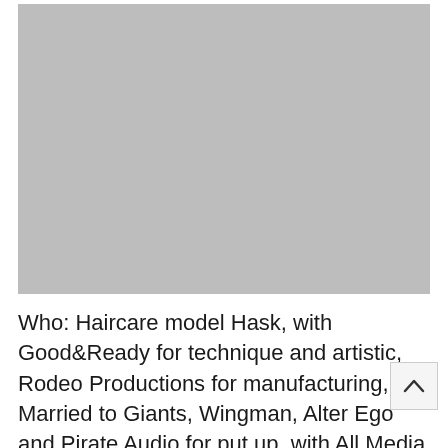[Figure (photo): A large gray placeholder image occupying the upper portion of the page]
Who: Haircare model Hask, with Good&Ready for technique and artistic, Rodeo Productions for manufacturing, Married to Giants, Wingman, Alter Ego and Pirate Audio for put up, with All Media Boutique for